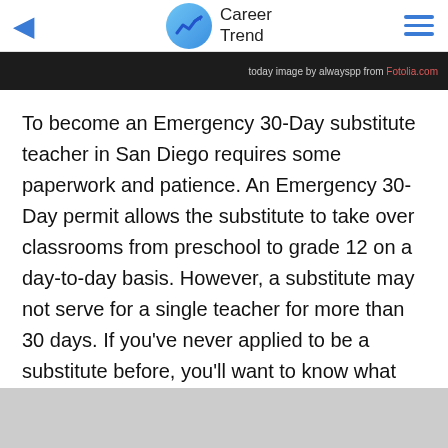Career Trend
[Figure (screenshot): Dark image strip with caption: today image by alwayspp from Fotolia.com]
To become an Emergency 30-Day substitute teacher in San Diego requires some paperwork and patience. An Emergency 30-Day permit allows the substitute to take over classrooms from preschool to grade 12 on a day-to-day basis. However, a substitute may not serve for a single teacher for more than 30 days. If you've never applied to be a substitute before, you'll want to know what specific steps you should take before you can apply.